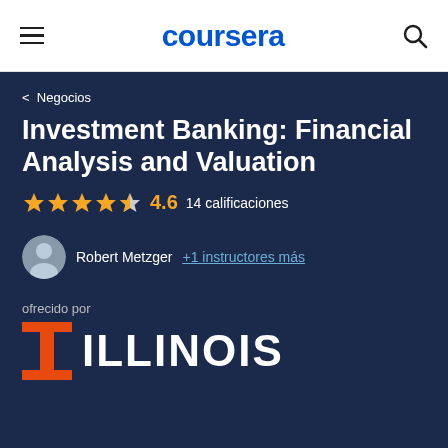coursera
< Negocios
Investment Banking: Financial Analysis and Valuation
4.6   14 calificaciones
Robert Metzger  +1 instructores más
ofrecido por
[Figure (logo): University of Illinois logo with orange block I and ILLINOIS wordmark in white]